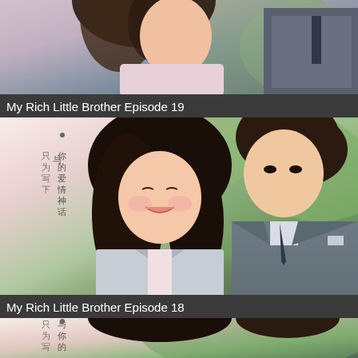[Figure (photo): Cropped top portion of a drama promotional image showing two young people in school uniforms, partially visible]
My Rich Little Brother Episode 19
[Figure (photo): Promotional image for My Rich Little Brother Episode 18: a smiling young woman with long dark hair in a school uniform next to a young man in a suit and tie, with Chinese text overlay reading 与你的爱情神话 只为写下]
My Rich Little Brother Episode 18
[Figure (photo): Partial bottom view of similar promotional image for another episode of My Rich Little Brother, same two characters]